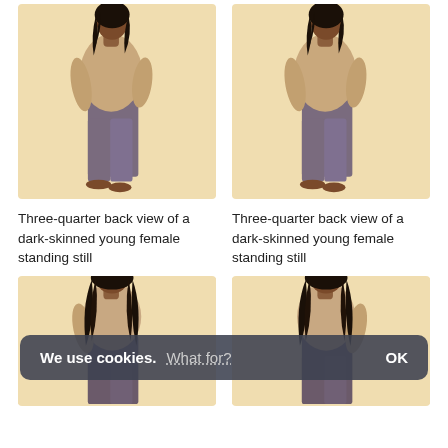[Figure (photo): Three-quarter back view of a dark-skinned young female standing still, wearing beige sweater and gray-purple cropped pants, barefoot, on a beige background.]
[Figure (photo): Three-quarter back view of a dark-skinned young female standing still, wearing beige sweater and gray-purple cropped pants, barefoot, on a beige background.]
Three-quarter back view of a dark-skinned young female standing still
Three-quarter back view of a dark-skinned young female standing still
[Figure (photo): Three-quarter back view of a dark-skinned young female with long dark curly hair, standing still, wearing a light top and dark pants, on a beige background. Partially visible due to cookie banner overlay.]
[Figure (photo): Three-quarter back view of a dark-skinned young female with long dark curly hair, standing still, wearing a light top and dark pants, on a beige background. Partially visible due to cookie banner overlay.]
We use cookies. What for? OK